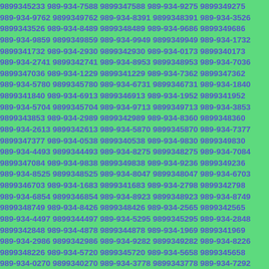9899345233 989-934-7588 9899347588 989-934-9275 9899349275 989-934-9762 9899349762 989-934-8391 9899348391 989-934-3526 9899343526 989-934-8489 9899348489 989-934-9686 9899349686 989-934-9859 9899349859 989-934-9949 9899349949 989-934-1732 9899341732 989-934-2930 9899342930 989-934-0173 9899340173 989-934-2741 9899342741 989-934-8953 9899348953 989-934-7036 9899347036 989-934-1229 9899341229 989-934-7362 9899347362 989-934-5780 9899345780 989-934-6731 9899346731 989-934-1840 9899341840 989-934-6913 9899346913 989-934-1952 9899341952 989-934-5704 9899345704 989-934-9713 9899349713 989-934-3853 9899343853 989-934-2989 9899342989 989-934-8360 9899348360 989-934-2613 9899342613 989-934-5870 9899345870 989-934-7377 9899347377 989-934-0538 9899340538 989-934-9830 9899349830 989-934-4493 9899344493 989-934-8275 9899348275 989-934-7084 9899347084 989-934-9838 9899349838 989-934-9236 9899349236 989-934-8525 9899348525 989-934-8047 9899348047 989-934-6703 9899346703 989-934-1683 9899341683 989-934-2798 9899342798 989-934-6854 9899346854 989-934-8923 9899348923 989-934-8749 9899348749 989-934-8426 9899348426 989-934-2565 9899342565 989-934-4497 9899344497 989-934-5295 9899345295 989-934-2848 9899342848 989-934-4878 9899344878 989-934-1969 9899341969 989-934-2986 9899342986 989-934-9282 9899349282 989-934-8226 9899348226 989-934-5720 9899345720 989-934-5658 9899345658 989-934-0270 9899340270 989-934-3778 9899343778 989-934-7292 9899347292 989-934-9520 9899349520 989-934-8873 9899348873 989-934-7561 9899347561 989-934-0677 9899340677 989-